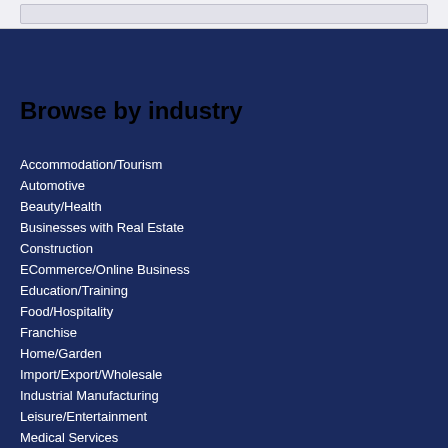Browse by industry
Accommodation/Tourism
Automotive
Beauty/Health
Businesses with Real Estate
Construction
ECommerce/Online Business
Education/Training
Food/Hospitality
Franchise
Home/Garden
Import/Export/Wholesale
Industrial Manufacturing
Leisure/Entertainment
Medical Services
Professional
Retail